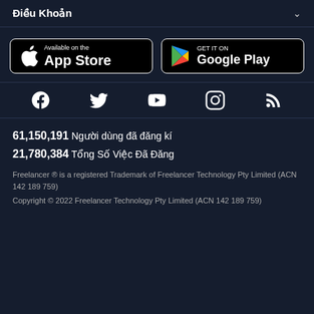Điều Khoản
[Figure (logo): App Store badge - Available on the App Store]
[Figure (logo): Google Play badge - GET IT ON Google Play]
[Figure (infographic): Social media icons: Facebook, Twitter, YouTube, Instagram, RSS]
61,150,191  Người dùng đã đăng kí
21,780,384  Tổng Số Việc Đã Đăng
Freelancer ® is a registered Trademark of Freelancer Technology Pty Limited (ACN 142 189 759)
Copyright © 2022 Freelancer Technology Pty Limited (ACN 142 189 759)